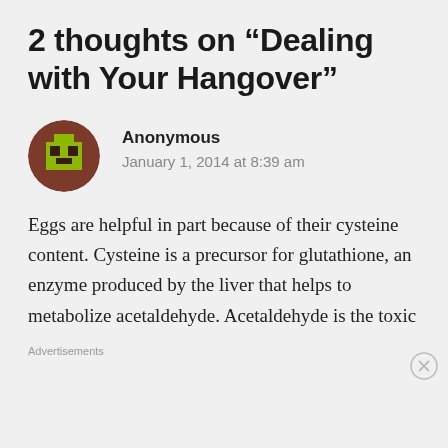2 thoughts on “Dealing with Your Hangover”
[Figure (illustration): Pixel-art style avatar icon: brown circular background with yellow-green pixel character face]
Anonymous
January 1, 2014 at 8:39 am
Eggs are helpful in part because of their cysteine content. Cysteine is a precursor for glutathione, an enzyme produced by the liver that helps to metabolize acetaldehyde. Acetaldehyde is the toxic
Advertisements